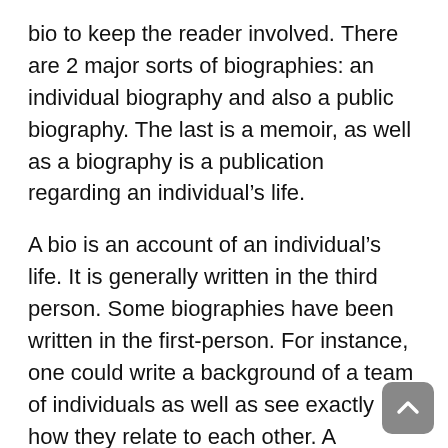bio to keep the reader involved. There are 2 major sorts of biographies: an individual biography and also a public biography. The last is a memoir, as well as a biography is a publication regarding an individual's life.
A bio is an account of an individual's life. It is generally written in the third person. Some biographies have been written in the first-person. For instance, one could write a background of a team of individuals as well as see exactly how they relate to each other. A biographer's goal is to provide the information of an event and its partnership to the writer. In contrast, a bio should not be the single emphasis of the reader.
When writing a biography, you wish to consist of the writer's childhood years and family members. Along with this, you need to include their legacy as well as the writer's life. You can also make use of quotes and